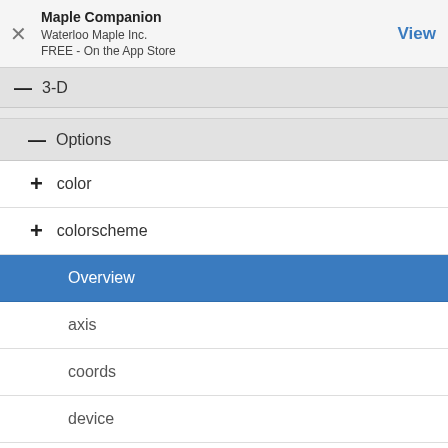Maple Companion
Waterloo Maple Inc.
FREE - On the App Store
View
— 3-D
— Options
+ color
+ colorscheme
Overview
axis
coords
device
plotsetup